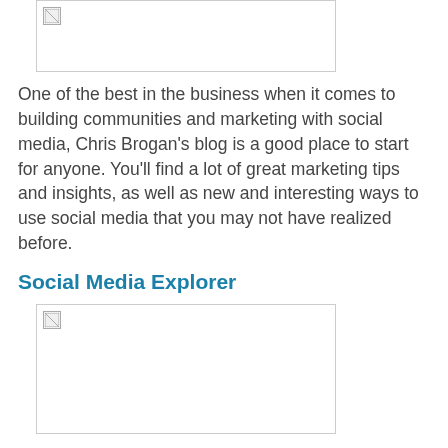[Figure (screenshot): Partial screenshot of a blog/website image (cropped at top of page)]
One of the best in the business when it comes to building communities and marketing with social media, Chris Brogan's blog is a good place to start for anyone. You'll find a lot of great marketing tips and insights, as well as new and interesting ways to use social media that you may not have realized before.
Social Media Explorer
[Figure (screenshot): Screenshot of Social Media Explorer website]
This is a great site that covers everything regarding social media, PR, advertising, and marketing. Discover new tools for monitoring your brand and overall presence online.
Altitude Branding